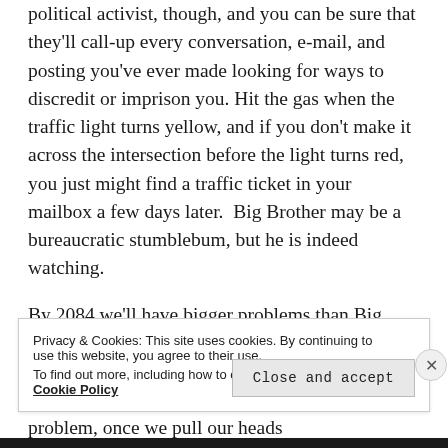political activist, though, and you can be sure that they'll call-up every conversation, e-mail, and posting you've ever made looking for ways to discredit or imprison you. Hit the gas when the traffic light turns yellow, and if you don't make it across the intersection before the light turns red, you just might find a traffic ticket in your mailbox a few days later.  Big Brother may be a bureaucratic stumblebum, but he is indeed watching.
By 2084 we'll have bigger problems than Big Brother, though.  I'm not just talking about Global Climate Change, either.  Hopefully, the brightest and the best will figure out ways to solve that problem, once we pull our heads out of...
Privacy & Cookies: This site uses cookies. By continuing to use this website, you agree to their use.
To find out more, including how to control cookies, see here: Cookie Policy